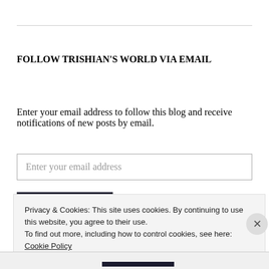FOLLOW TRISHIAN'S WORLD VIA EMAIL
Enter your email address to follow this blog and receive notifications of new posts by email.
Enter your email address
Privacy & Cookies: This site uses cookies. By continuing to use this website, you agree to their use.
To find out more, including how to control cookies, see here:
Cookie Policy
Close and accept